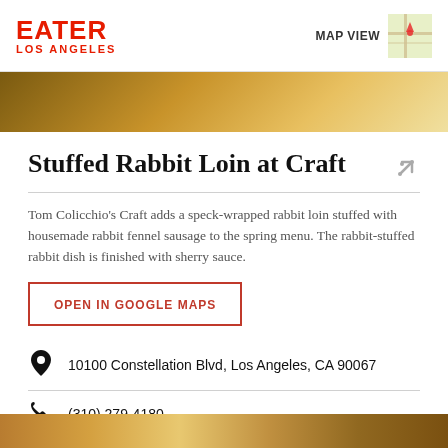EATER LOS ANGELES | MAP VIEW
[Figure (photo): Close-up food photo, warm golden-brown tones, partial view at top of page]
Stuffed Rabbit Loin at Craft
Tom Colicchio's Craft adds a speck-wrapped rabbit loin stuffed with housemade rabbit fennel sausage to the spring menu. The rabbit-stuffed rabbit dish is finished with sherry sauce.
OPEN IN GOOGLE MAPS
10100 Constellation Blvd, Los Angeles, CA 90067
(310) 279-4180
Visit Website
[Figure (photo): Food photo at bottom of page, partial view]